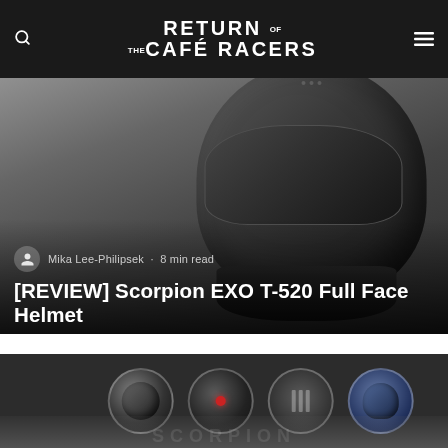RETURN OF THE CAFÉ RACERS
[Figure (photo): Black and white photo of a Scorpion EXO T-520 full face motorcycle helmet, showing the helmet from the front-right angle with visor raised slightly. Background is grey/white.]
Mika Lee-Philipsek · 8 min read
[REVIEW] Scorpion EXO T-520 Full Face Helmet
[Figure (photo): Dark background product image strip showing four circular inset images of helmet detail features/colorways of the Scorpion EXO T-520 helmet.]